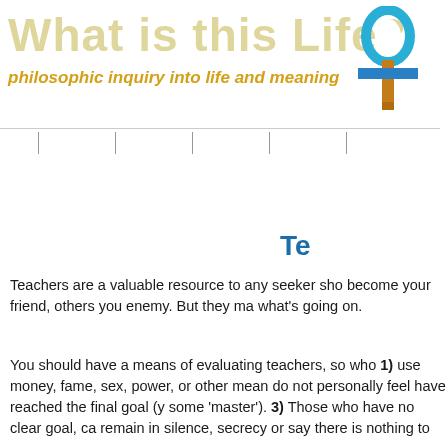What is this Life?
philosophic inquiry into life and meaning
[Figure (illustration): Ankh symbol with blue loop top and orange/brown cross and stem]
Te
Teachers are a valuable resource to any seeker sho become your friend, others you enemy. But they ma what's going on.
You should have a means of evaluating teachers, so who 1) use money, fame, sex, power, or other mean do not personally feel have reached the final goal (y some 'master'). 3) Those who have no clear goal, ca remain in silence, secrecy or say there is nothing to